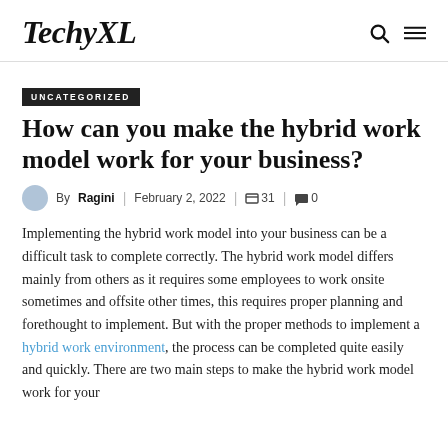TechyXL
UNCATEGORIZED
How can you make the hybrid work model work for your business?
By Ragini | February 2, 2022 | 31 | 0
Implementing the hybrid work model into your business can be a difficult task to complete correctly. The hybrid work model differs mainly from others as it requires some employees to work onsite sometimes and offsite other times, this requires proper planning and forethought to implement. But with the proper methods to implement a hybrid work environment, the process can be completed quite easily and quickly. There are two main steps to make the hybrid work model work for your